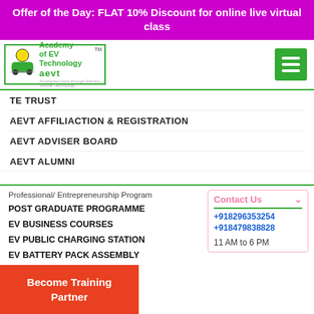Offer of the Day: FLAT 10% Discount for online live virtual class
[Figure (logo): Academy of EV Technology (aevt) logo with green border and car icon]
TE TRUST
AEVT AFFILIACTION & REGISTRATION
AEVT ADVISER BOARD
AEVT ALUMNI
Professional/ Entrepreneurship Program
POST GRADUATE PROGRAMME
EV BUSINESS COURSES
EV PUBLIC CHARGING STATION
EV BATTERY PACK ASSEMBLY
Contact Us
+918296353254
+918479838828
11 AM to 6 PM
Become Training Partner